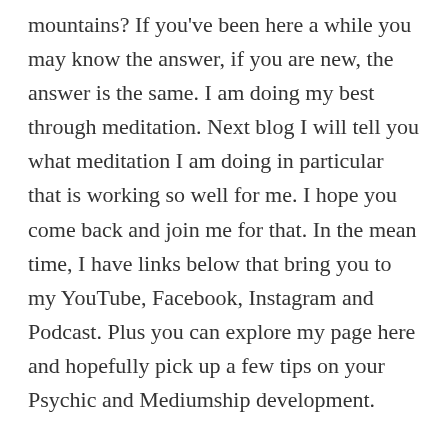mountains? If you've been here a while you may know the answer, if you are new, the answer is the same. I am doing my best through meditation. Next blog I will tell you what meditation I am doing in particular that is working so well for me. I hope you come back and join me for that. In the mean time, I have links below that bring you to my YouTube, Facebook, Instagram and Podcast. Plus you can explore my page here and hopefully pick up a few tips on your Psychic and Mediumship development.
Thanks for hanging with me! Remember there is a Life Beyond!